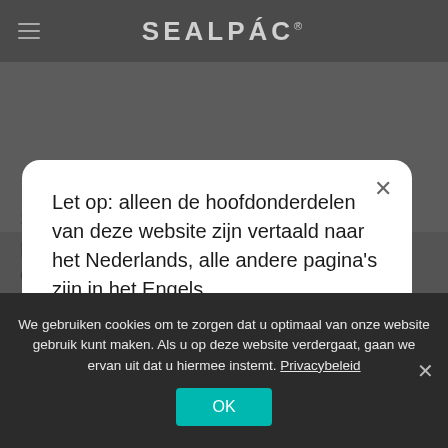[Figure (screenshot): SEALPAC website navigation bar with hamburger menu icon and SEALPAC logo]
[Figure (photo): Partial product image of AS-RS diagonal denester machine, dark grey background]
SEALPAC's AS-RS diagonal denester is perfectly suited for small to medium outputs. Due to its
Let op: alleen de hoofdonderdelen van deze website zijn vertaald naar het Nederlands, alle andere pagina's zijn in het Engels.
We gebruiken cookies om te zorgen dat u optimaal van onze website gebruik kunt maken. Als u op deze website verdergaat, gaan we ervan uit dat u hiermee instemt. Privacybeleid
OK